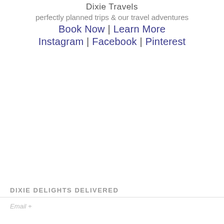Dixie Travels
perfectly planned trips & our travel adventures
Book Now | Learn More
Instagram | Facebook | Pinterest
DIXIE DELIGHTS DELIVERED
Email +